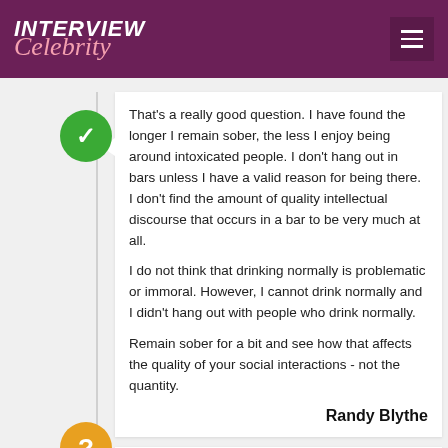INTERVIEW Celebrity
That's a really good question. I have found the longer I remain sober, the less I enjoy being around intoxicated people. I don't hang out in bars unless I have a valid reason for being there. I don't find the amount of quality intellectual discourse that occurs in a bar to be very much at all.

I do not think that drinking normally is problematic or immoral. However, I cannot drink normally and I didn't hang out with people who drink normally.

Remain sober for a bit and see how that affects the quality of your social interactions - not the quantity.
Randy Blythe
Hi Randy ... Congratulations on 'Dark Days: A